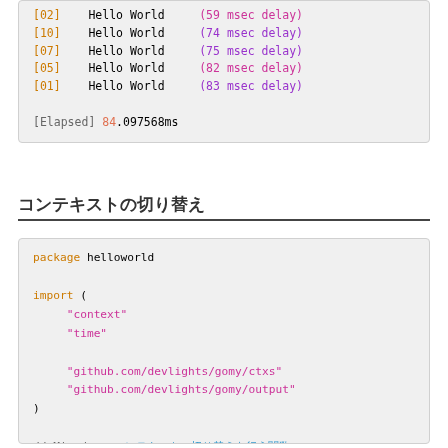[02]    Hello World     (59 msec delay)
[10]    Hello World     (74 msec delay)
[07]    Hello World     (75 msec delay)
[05]    Hello World     (82 msec delay)
[01]    Hello World     (83 msec delay)

[Elapsed] 84.097568ms
コンテキストの切り替え
package helloworld

import (
    "context"
    "time"

    "github.com/devlights/gomy/ctxs"
    "github.com/devlights/gomy/output"
)

// Mixed -- コンテキストの切り替えを行う関数
func Mixed() error {
    // main contexts
    var (